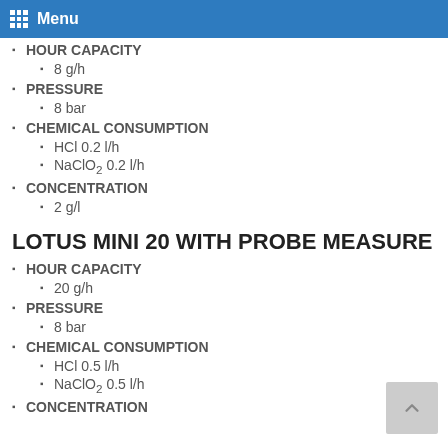Menu
HOUR CAPACITY
8 g/h
PRESSURE
8 bar
CHEMICAL CONSUMPTION
HCl 0.2 l/h
NaClO2 0.2 l/h
CONCENTRATION
2 g/l
LOTUS MINI 20 WITH PROBE MEASURE
HOUR CAPACITY
20 g/h
PRESSURE
8 bar
CHEMICAL CONSUMPTION
HCl 0.5 l/h
NaClO2 0.5 l/h
CONCENTRATION